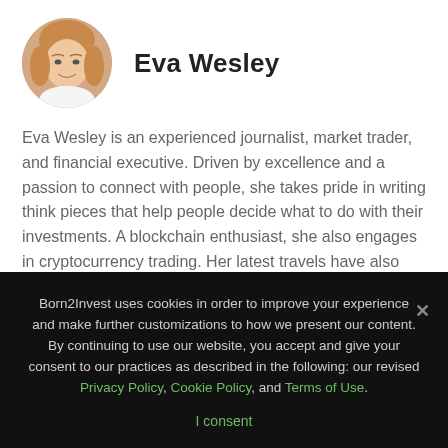[Figure (photo): Circular headshot photo of Eva Wesley, a woman with light brown/blonde hair, smiling, wearing light clothing]
Eva Wesley
Eva Wesley is an experienced journalist, market trader, and financial executive. Driven by excellence and a passion to connect with people, she takes pride in writing think pieces that help people decide what to do with their investments. A blockchain enthusiast, she also engages in cryptocurrency trading. Her latest travels have also opened her eyes to other exciting markets, such as aerospace, cannabis, healthcare, and telcos.
Born2Invest uses cookies in order to improve your experience and make further customizations to how we present our content. By continuing to use our website, you accept and give your consent to our practices as described in the following: our revised Privacy Policy, Cookie Policy, and Terms of Use.
I consent